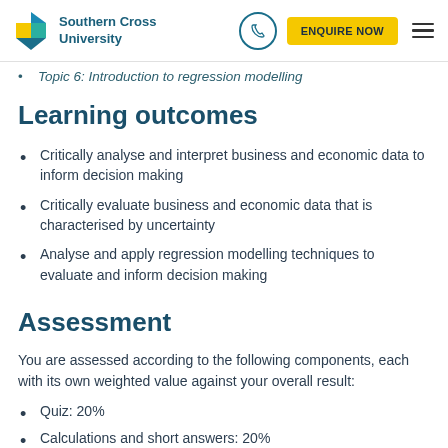Southern Cross University | ENQUIRE NOW
Topic 6: Introduction to regression modelling
Learning outcomes
Critically analyse and interpret business and economic data to inform decision making
Critically evaluate business and economic data that is characterised by uncertainty
Analyse and apply regression modelling techniques to evaluate and inform decision making
Assessment
You are assessed according to the following components, each with its own weighted value against your overall result:
Quiz: 20%
Calculations and short answers: 20%